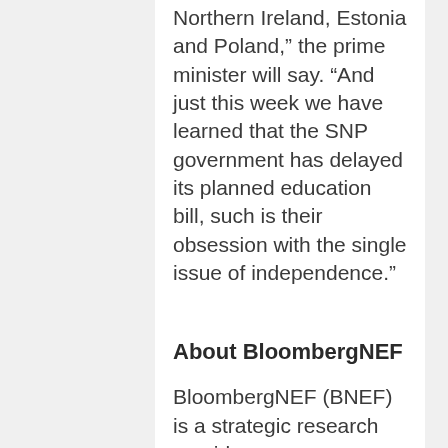Northern Ireland, Estonia and Poland,” the prime minister will say. “And just this week we have learned that the SNP government has delayed its planned education bill, such is their obsession with the single issue of independence.”
About BloombergNEF
BloombergNEF (BNEF) is a strategic research provider